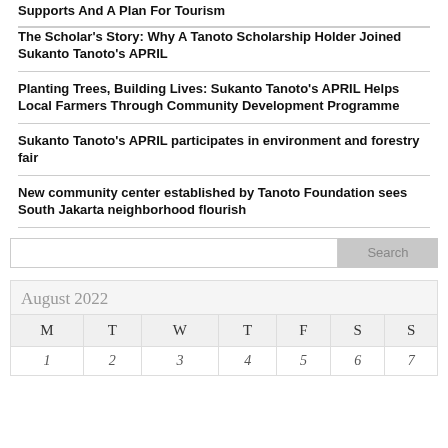Supports And A Plan For Tourism
The Scholar's Story: Why A Tanoto Scholarship Holder Joined Sukanto Tanoto's APRIL
Planting Trees, Building Lives: Sukanto Tanoto's APRIL Helps Local Farmers Through Community Development Programme
Sukanto Tanoto's APRIL participates in environment and forestry fair
New community center established by Tanoto Foundation sees South Jakarta neighborhood flourish
[Figure (other): Search input box with Search button]
| M | T | W | T | F | S | S |
| --- | --- | --- | --- | --- | --- | --- |
| 1 | 2 | 3 | 4 | 5 | 6 | 7 |